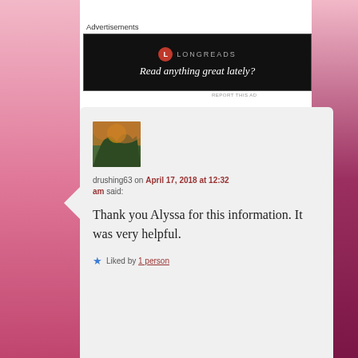Advertisements
[Figure (screenshot): Longreads advertisement banner: black background with red circular logo, 'LONGREADS' brand text, and tagline 'Read anything great lately?']
REPORT THIS AD
[Figure (photo): User avatar photo showing trees with orange/sunset light filtering through]
drushing63 on April 17, 2018 at 12:32 am said:
Thank you Alyssa for this information. It was very helpful.
Liked by 1 person